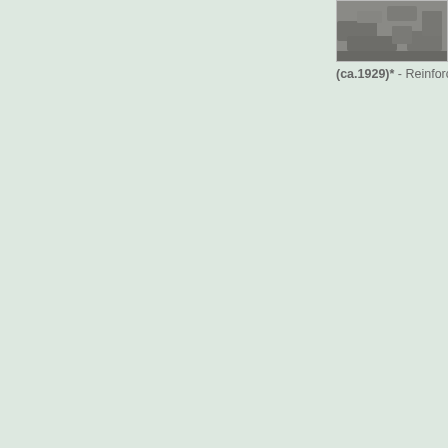[Figure (photo): Partial view of a historical photograph showing rubble or rocky surface, top-right corner of page]
(ca.1929)* - Reinforceme...
[Figure (photo): Black and white historical photograph showing a hillside with a stone viaduct/aqueduct with multiple arches at the bottom, and buildings on top of the hill. The lower portion shows a multi-arch stone bridge.]